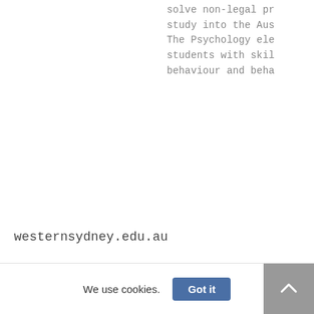solve non-legal pr
study into the Aus
The Psychology ele
students with skil
behaviour and beha
westernsydney.edu.au
We use cookies.
Got it